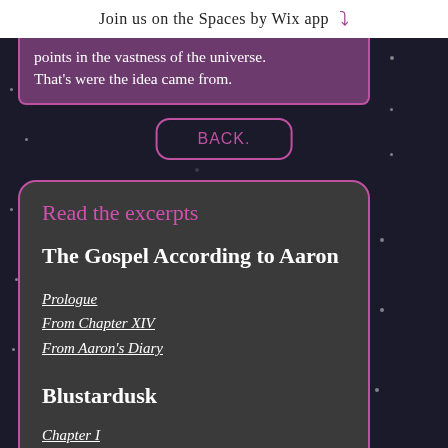Join us on the Spaces by Wix app ↓
points in the vastness of the universe. That's were the idea came from.
BACK.
Read the excerpts
The Gospel According to Aaron
Prologue
From Chapter XIV
From Aaron's Diary
Blustardusk
Chapter I